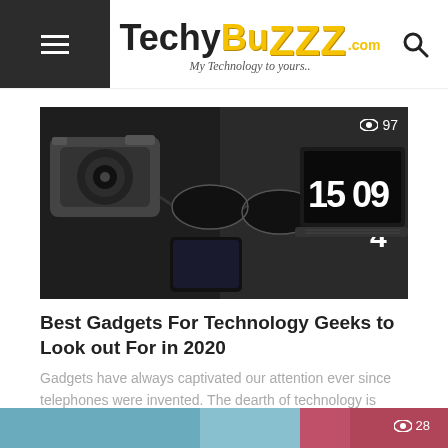TechyBuzzz.com — My Technology to yours..
[Figure (photo): Black and white flat lay photo of technology gadgets including a camera, sunglasses, smartphone, and laptop showing time 15:09]
Best Gadgets For Technology Geeks to Look out For in 2020
Gadgets have always captivated our attention ever since telephones were invented. The dearth of technology is now, only a dream. Right from...
[Figure (photo): Partial view of a second article image at the bottom of the page, colorful photo cropped]